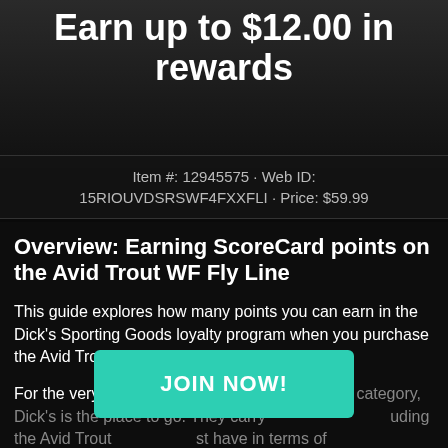Earn up to $12.00 in rewards
Item #: 12945575 · Web ID: 15RIOUVDSRSWF4FXXFLI · Price: $59.99
Overview: Earning ScoreCard points on the Avid Trout WF Fly Line
This guide explores how many points you can earn in the Dick's Sporting Goods loyalty program when you purchase the Avid Trout WF Fly Line.
For the very best items in the Sports Equipment category, Dick's is the place to go. They carry a great selection including the Avid Trout WF Fly Line, a must have in terms of Fly Fishing Equipment items. At the price of $59.99 it also offers great value.
JOIN NOW!